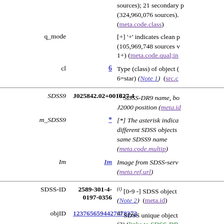| Label | Value | Description |
| --- | --- | --- |
|  |  | (324,960,076 sources). (meta.code.class) |
| q_mode |  | [+] '+' indicates clean p (105,969,748 sources v 1+) (meta.code.qual;in |
| cl | 6 | Type (class) of object ( 6=star) (Note 1) (src.c |
| SDSS9 | J025842.02+001827.4 | (i) SDSS-DR9 name, bo J2000 position (meta.id |
| m_SDSS9 | * | [*] The asterisk indica different SDSS objects same SDSS9 name (meta.code.multip) |
| Im | Im | Image from SDSS-serv (meta.ref.url) |
| SDSS-ID | 2589-301-4-0197-0356 | (i) [0-9 -] SDSS object (Note 2) (meta.id) |
| objID | 1237656594427478372 | (i) SDSS unique object (2) (links to SDSS-DR (Note) (meta.id;meta |